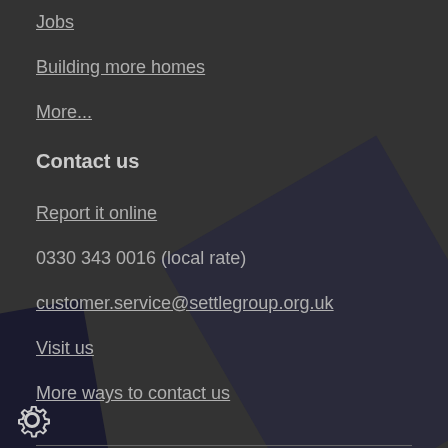Jobs
Building more homes
More...
Contact us
Report it online
0330 343 0016 (local rate)
customer.service@settlegroup.org.uk
Visit us
More ways to contact us
Accessibility
map